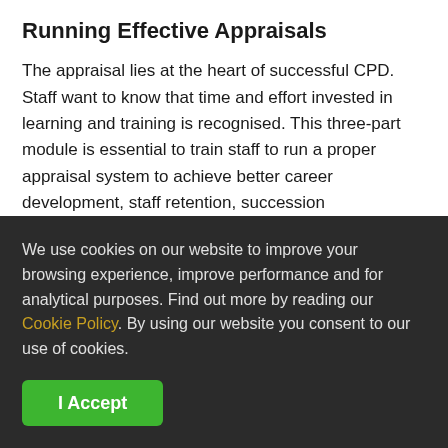Running Effective Appraisals
The appraisal lies at the heart of successful CPD. Staff want to know that time and effort invested in learning and training is recognised. This three-part module is essential to train staff to run a proper appraisal system to achieve better career development, staff retention, succession
We use cookies on our website to improve your browsing experience, improve performance and for analytical purposes. Find out more by reading our Cookie Policy. By using our website you consent to our use of cookies.
I Accept